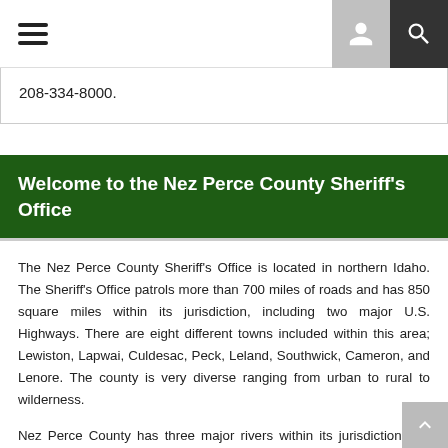Navigation bar with hamburger menu and icons
208-334-8000.
Welcome to the Nez Perce County Sheriff's Office
The Nez Perce County Sheriff's Office is located in northern Idaho. The Sheriff's Office patrols more than 700 miles of roads and has 850 square miles within its jurisdiction, including two major U.S. Highways. There are eight different towns included within this area; Lewiston, Lapwai, Culdesac, Peck, Leland, Southwick, Cameron, and Lenore. The county is very diverse ranging from urban to rural to wilderness.
Nez Perce County has three major rivers within its jurisdiction; the Salmon, Snake and Clearwater Rivers. The Sheriff's Office has a marine patrol and utilizes the river to conduct search and rescue, enforce the